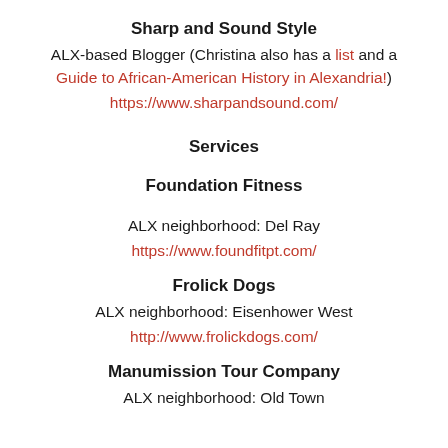Sharp and Sound Style
ALX-based Blogger (Christina also has a list and a Guide to African-American History in Alexandria!)
https://www.sharpandsound.com/
Services
Foundation Fitness
ALX neighborhood: Del Ray
https://www.foundfitpt.com/
Frolick Dogs
ALX neighborhood: Eisenhower West
http://www.frolickdogs.com/
Manumission Tour Company
ALX neighborhood: Old Town